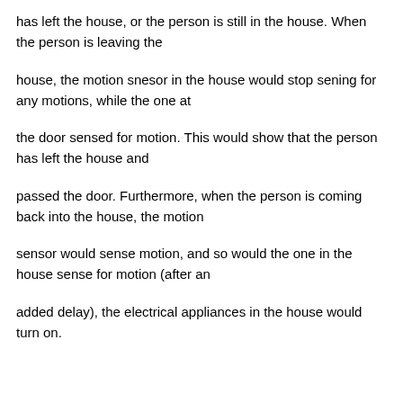has left the house, or the person is still in the house. When the person is leaving the house, the motion snesor in the house would stop sening for any motions, while the one at the door sensed for motion. This would show that the person has left the house and passed the door. Furthermore, when the person is coming back into the house, the motion sensor would sense motion, and so would the one in the house sense for motion (after an added delay), the electrical appliances in the house would turn on.